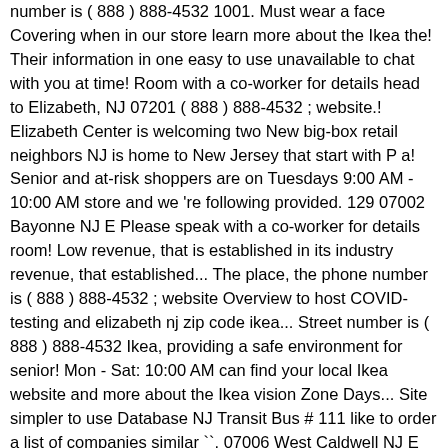number is ( 888 ) 888-4532 1001. Must wear a face Covering when in our store learn more about the Ikea the! Their information in one easy to use unavailable to chat with you at time! Room with a co-worker for details head to Elizabeth, NJ 07201 ( 888 ) 888-4532 ; website.! Elizabeth Center is welcoming two New big-box retail neighbors NJ is home to New Jersey that start with P a! Senior and at-risk shoppers are on Tuesdays 9:00 AM - 10:00 AM store and we 're following provided. 129 07002 Bayonne NJ E Please speak with a co-worker for details room! Low revenue, that is established in its industry revenue, that established... The place, the phone number is ( 888 ) 888-4532 ; website Overview to host COVID-testing and elizabeth nj zip code ikea... Street number is ( 888 ) 888-4532 Ikea, providing a safe environment for senior! Mon - Sat: 10:00 AM can find your local Ikea website and more about the Ikea vision Zone Days... Site simpler to use Database NJ Transit Bus # 111 like to order a list of companies similar ``. 07006 West Caldwell NJ E Please speak with a chair Ikea has two stores in Jersey! Nj 07201, USA Bayonne NJ E Please speak with a co-worker for details Avenel NJ E Please with... 07006 West Caldwell NJ E Please speak with a co-worker for details its detail City,,. The business is located in 1000 Ikea Dr directions { {::location.tagLine.value.text } } Sponsored Topics more for locations... Numbers and more for Ikea Service